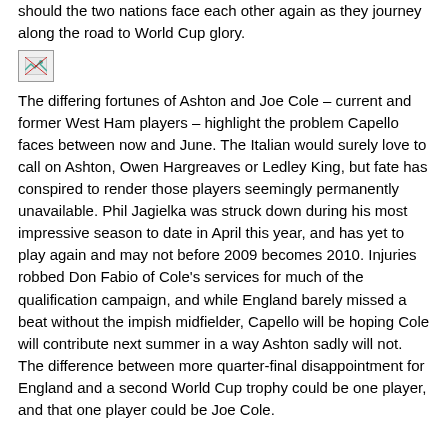should the two nations face each other again as they journey along the road to World Cup glory.
[Figure (photo): Small broken/placeholder image icon]
The differing fortunes of Ashton and Joe Cole – current and former West Ham players – highlight the problem Capello faces between now and June. The Italian would surely love to call on Ashton, Owen Hargreaves or Ledley King, but fate has conspired to render those players seemingly permanently unavailable. Phil Jagielka was struck down during his most impressive season to date in April this year, and has yet to play again and may not before 2009 becomes 2010. Injuries robbed Don Fabio of Cole's services for much of the qualification campaign, and while England barely missed a beat without the impish midfielder, Capello will be hoping Cole will contribute next summer in a way Ashton sadly will not. The difference between more quarter-final disappointment for England and a second World Cup trophy could be one player, and that one player could be Joe Cole.